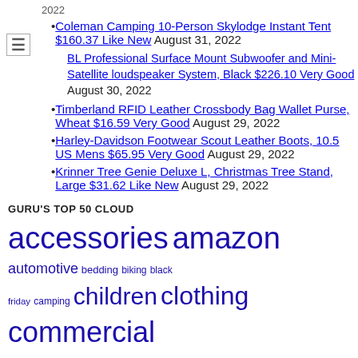Coleman Camping 10-Person Skylodge Instant Tent $160.37 Like New August 31, 2022
BL Professional Surface Mount Subwoofer and Mini-Satellite loudspeaker System, Black $226.10 Very Good August 30, 2022
Timberland RFID Leather Crossbody Bag Wallet Purse, Wheat $16.59 Very Good August 29, 2022
Harley-Davidson Footwear Scout Leather Boots, 10.5 US Mens $65.95 Very Good August 29, 2022
Krinner Tree Genie Deluxe L, Christmas Tree Stand, Large $31.62 Like New August 29, 2022
GURU'S TOP 50 CLOUD
accessories amazon automotive bedding biking black friday camping children clothing commercial computer cookware coupon decoration delta faucet